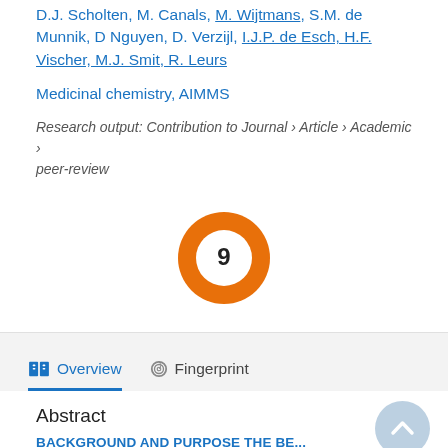D.J. Scholten, M. Canals, M. Wijtmans, S.M. de Munnik, D. Nguyen, D. Verzijl, I.J.P. de Esch, H.F. Vischer, M.J. Smit, R. Leurs
Medicinal chemistry, AIMMS
Research output: Contribution to Journal › Article › Academic › peer-review
[Figure (infographic): Donut/ring badge showing citation count of 9, with orange ring and white center]
Overview
Fingerprint
Abstract
BACKGROUND AND PURPOSE The be...